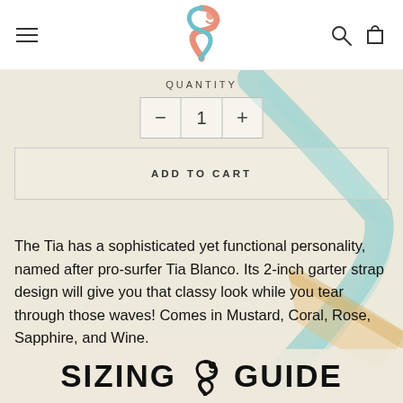Navigation header with hamburger menu, logo, search and cart icons
QUANTITY
1
ADD TO CART
The Tia has a sophisticated yet functional personality, named after pro-surfer Tia Blanco. Its 2-inch garter strap design will give you that classy look while you tear through those waves! Comes in Mustard, Coral, Rose, Sapphire, and Wine.
SIZING GUIDE